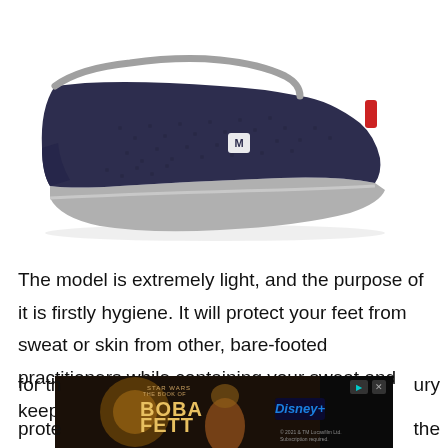[Figure (photo): Side view of a dark navy blue slip-on shoe/slipper with gray trim around the collar, a small white logo badge on the side, and a red pull tab at the heel. The sole is flat and gray.]
The model is extremely light, and the purpose of it is firstly hygiene. It will protect your feet from sweat or skin from other, bare-footed practitioners while containing your sweat and keeping the dojo clean. As for th ury prote the
[Figure (screenshot): Advertisement banner for 'The Book of Boba Fett' on Disney+, showing characters in armor with the Disney logo and copyright text '© 2021 & TM Lucasfilm Ltd. Subscription required.' with skip and close buttons.]